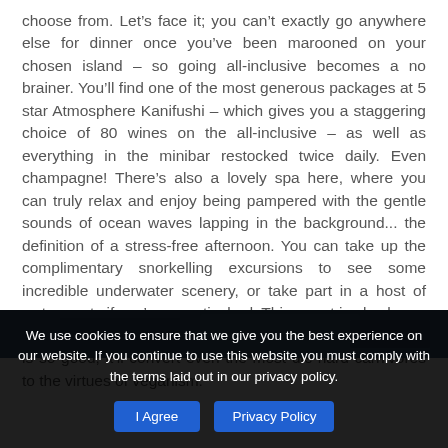choose from. Let's face it; you can't exactly go anywhere else for dinner once you've been marooned on your chosen island – so going all-inclusive becomes a no brainer. You'll find one of the most generous packages at 5 star Atmosphere Kanifushi – which gives you a staggering choice of 80 wines on the all-inclusive – as well as everything in the minibar restocked twice daily. Even champagne! There's also a lovely spa here, where you can truly relax and enjoy being pampered with the gentle sounds of ocean waves lapping in the background... the definition of a stress-free afternoon. You can take up the complimentary snorkelling excursions to see some incredible underwater scenery, or take part in a host of watersports if you're an activebod. This resort is also home to the award-winning Just Veg restaurant. The menu here is so good; it'll convert even the most die-hard carnivores to the virtues of veganism.
[Figure (photo): Partial view of an image strip at the bottom of the article content area, appearing to show an outdoor or ocean scene.]
We use cookies to ensure that we give you the best experience on our website. If you continue to use this website you must comply with the terms laid out in our privacy policy.